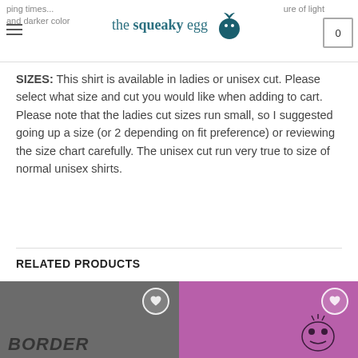ping times. / ure of light and darker color — the squeaky egg
SIZES: This shirt is available in ladies or unisex cut. Please select what size and cut you would like when adding to cart. Please note that the ladies cut sizes run small, so I suggested going up a size (or 2 depending on fit preference) or reviewing the size chart carefully. The unisex cut run very true to size of normal unisex shirts.
RELATED PRODUCTS
[Figure (photo): Gray t-shirt with BORDER text, with a wishlist heart button overlay]
[Figure (photo): Purple/pink t-shirt with animal graphic design, with a wishlist heart button overlay]